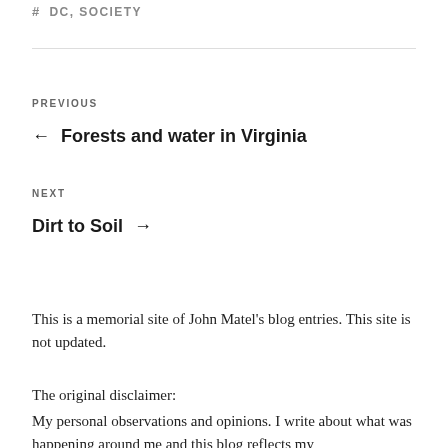# DC, SOCIETY
PREVIOUS
← Forests and water in Virginia
NEXT
Dirt to Soil →
This is a memorial site of John Matel's blog entries. This site is not updated.
The original disclaimer:
My personal observations and opinions. I write about what was happening around me and this blog reflects my